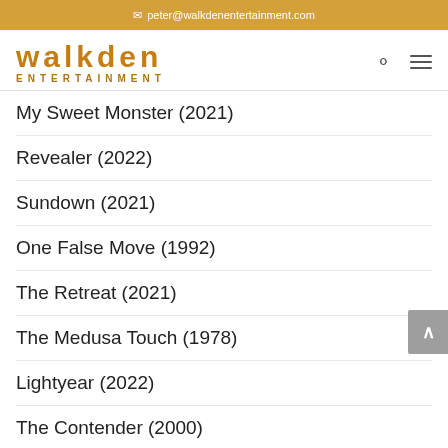peter@walkdenentertainment.com
walkden ENTERTAINMENT
My Sweet Monster (2021)
Revealer (2022)
Sundown (2021)
One False Move (1992)
The Retreat (2021)
The Medusa Touch (1978)
Lightyear (2022)
The Contender (2000)
A Hero (2021)